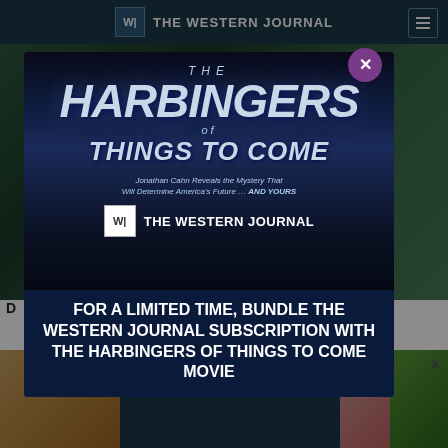THE WESTERN JOURNAL
[Figure (screenshot): Screenshot of The Western Journal website with a modal advertisement overlay for 'The Harbingers of Things to Come' movie bundle promotion. The modal shows the movie poster with dramatic blue-toned cloud imagery, the title 'THE HARBINGERS OF THINGS TO COME', subtitle 'Jonathan Cahn Reveals the Mystery That Will Determine America's Future ... AND YOURS', The Western Journal logo, and a call-to-action text 'FOR A LIMITED TIME, BUNDLE THE WESTERN JOURNAL SUBSCRIPTION WITH THE HARBINGERS OF THINGS TO COME MOVIE'. A purple close (X) button appears at the top right of the modal.]
FOR A LIMITED TIME, BUNDLE THE WESTERN JOURNAL SUBSCRIPTION WITH THE HARBINGERS OF THINGS TO COME MOVIE